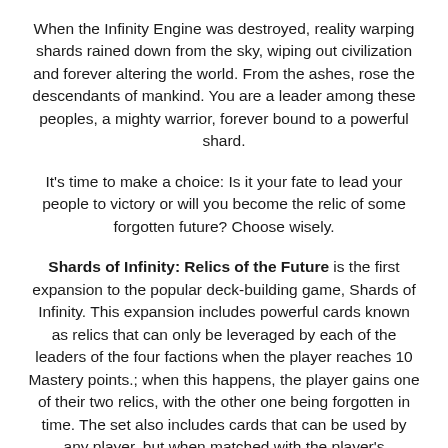When the Infinity Engine was destroyed, reality warping shards rained down from the sky, wiping out civilization and forever altering the world. From the ashes, rose the descendants of mankind. You are a leader among these peoples, a mighty warrior, forever bound to a powerful shard.
It's time to make a choice: Is it your fate to lead your people to victory or will you become the relic of some forgotten future? Choose wisely.
Shards of Infinity: Relics of the Future is the first expansion to the popular deck-building game, Shards of Infinity. This expansion includes powerful cards known as relics that can only be leveraged by each of the leaders of the four factions when the player reaches 10 Mastery points.; when this happens, the player gains one of their two relics, with the other one being forgotten in time. The set also includes cards that can be used by any player, but when matched with the player's designated faction leader, the card receives an additional effect!